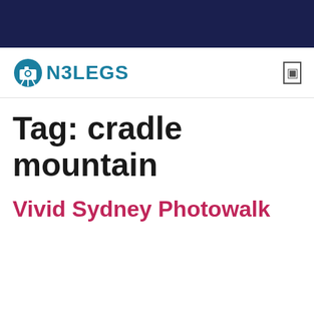[Figure (logo): ON3LEGS logo with camera/tripod icon in teal and bold teal text reading N3LEGS]
Tag: cradle mountain
Vivid Sydney Photowalk